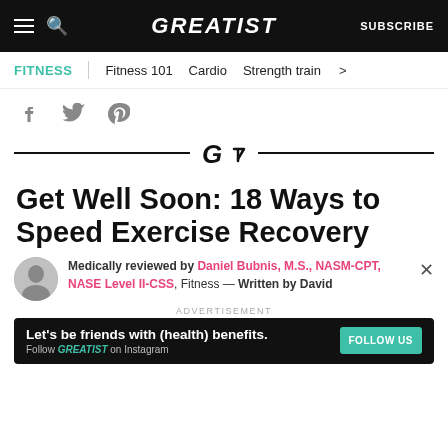GREATIST | SUBSCRIBE
FITNESS | Fitness 101 | Cardio | Strength train >
[Figure (other): Social share icons: Facebook, Twitter, Pinterest]
[Figure (logo): Greatist logo divider with horizontal lines]
Get Well Soon: 18 Ways to Speed Exercise Recovery
Medically reviewed by Daniel Bubnis, M.S., NASM-CPT, NASE Level II-CSS, Fitness — Written by David
ADVERTISEMENT
Let's be friends with (health) benefits. Follow GREATIST on Instagram FOLLOW US